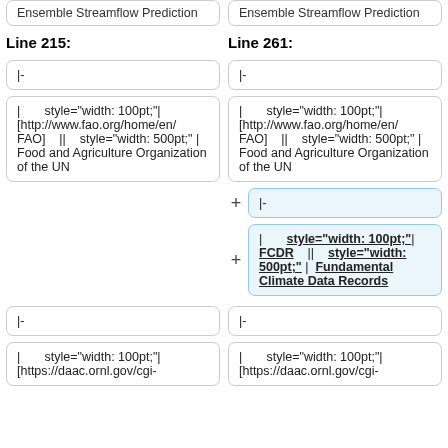Ensemble Streamflow Prediction
Ensemble Streamflow Prediction
Line 215:
Line 261:
|-
|-
| style="width: 100pt;"| [http://www.fao.org/home/en/ FAO] || style="width: 500pt;" | Food and Agriculture Organization of the UN
| style="width: 100pt;"| [http://www.fao.org/home/en/ FAO] || style="width: 500pt;" | Food and Agriculture Organization of the UN
|-
| style="width: 100pt;"| FCDR || style="width: 500pt;" | Fundamental Climate Data Records
|-
|-
| style="width: 100pt;"| [https://daac.ornl.gov/cgi-
| style="width: 100pt;"| [https://daac.ornl.gov/cgi-